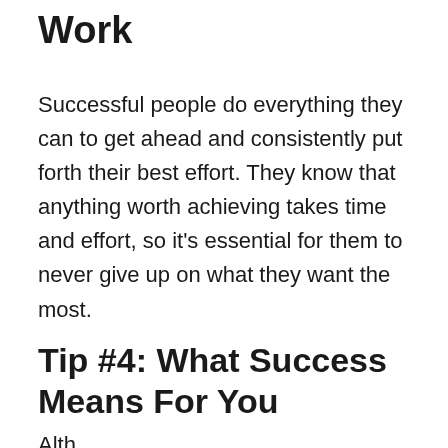Work
Successful people do everything they can to get ahead and consistently put forth their best effort. They know that anything worth achieving takes time and effort, so it's essential for them to never give up on what they want the most.
Tip #4: What Success Means For You
Alth...